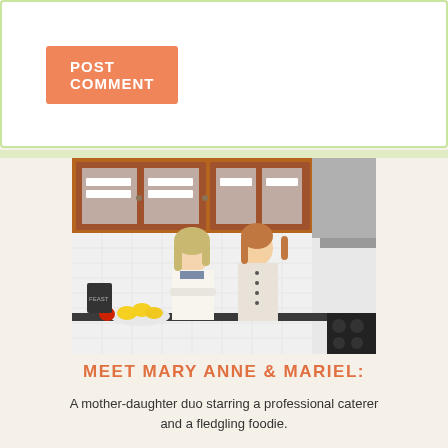POST COMMENT
[Figure (photo): Two women standing in a kitchen with wood cabinets and white subway tile backsplash. One woman has crossed arms wearing a cream sweater, the other stands beside her in a light cardigan. A bowl of lemons and other kitchen items are visible on the counter.]
MEET MARY ANNE & MARIEL:
A mother-daughter duo starring a professional caterer and a fledgling foodie.